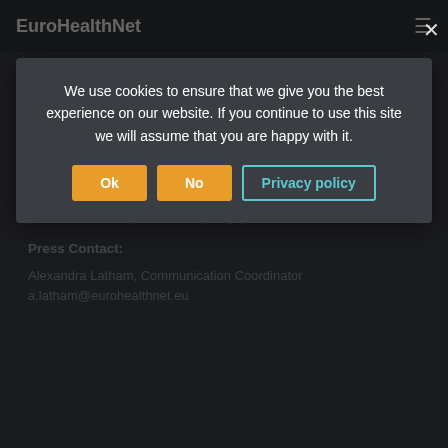EuroHealthNet
can do much to protect the rights of all its citizens... and also play a leading role in areas of common sustainability, protecting health and promoting wellbeing, as its Treaty objectives demand."
The full response can be downloaded at eurohealthnet.eu/publications-consultations-responses. The EuroHealthNet Policy Press on the social pillar can be found at eurohealthnet.eu/publications/policy-press
Press Contact:
Alexandra Latham, Communication Coordinator a.latham@eurohealthnet.eu
We use cookies to ensure that we give you the best experience on our website. If you continue to use this site we will assume that you are happy with it.